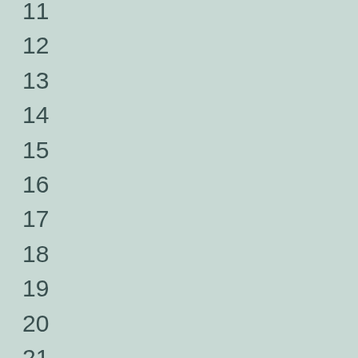11
12
13
14
15
16
17
18
19
20
21
22
23
24